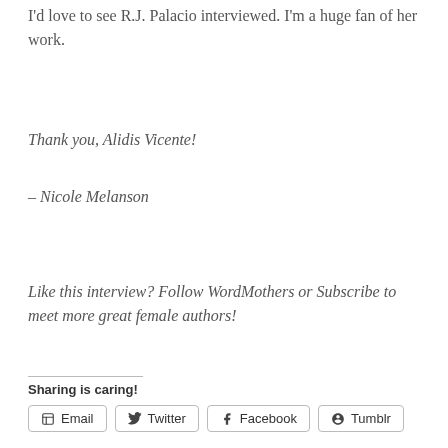I'd love to see R.J. Palacio interviewed.  I'm a huge fan of her work.
Thank you, Alidis Vicente!
– Nicole Melanson
Like this interview? Follow WordMothers or Subscribe to meet more great female authors!
Sharing is caring!
Email  Twitter  Facebook  Tumblr